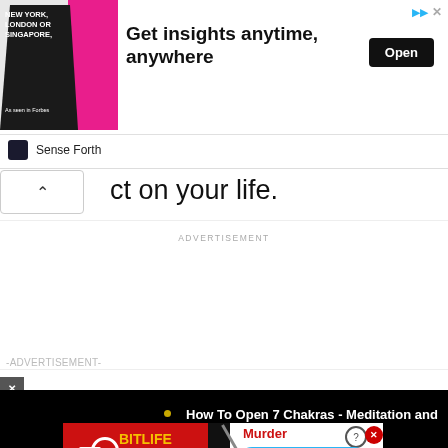[Figure (screenshot): Advertisement banner: 'Get insights anytime, anywhere' with man in suit image on left, Open button on right, Sense Forth sponsor below]
ct on your life.
ADVERTISEMENT
-ADVERTISEMENT-
[Figure (screenshot): Video player showing black background with circle icon and text: How To Open 7 Chakras - Meditation and Healing - SunSigns.Org]
[Figure (screenshot): BitLife advertisement banner with red background, white sperm icon, yellow BitLife logo, knife image, Murder, Do it! button in blue]